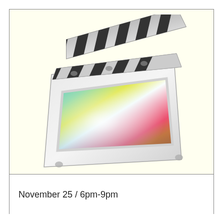[Figure (illustration): Final Cut Pro X application icon: a clapperboard with black and white diagonal stripes on the top flap, and a colorful rainbow spectrum screen on the lower board body, displayed at an angle.]
November 25 / 6pm-9pm